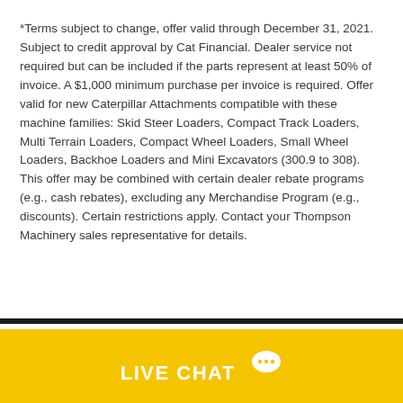*Terms subject to change, offer valid through December 31, 2021. Subject to credit approval by Cat Financial. Dealer service not required but can be included if the parts represent at least 50% of invoice. A $1,000 minimum purchase per invoice is required. Offer valid for new Caterpillar Attachments compatible with these machine families: Skid Steer Loaders, Compact Track Loaders, Multi Terrain Loaders, Compact Wheel Loaders, Small Wheel Loaders, Backhoe Loaders and Mini Excavators (300.9 to 308). This offer may be combined with certain dealer rebate programs (e.g., cash rebates), excluding any Merchandise Program (e.g., discounts). Certain restrictions apply. Contact your Thompson Machinery sales representative for details.
LIVE CHAT